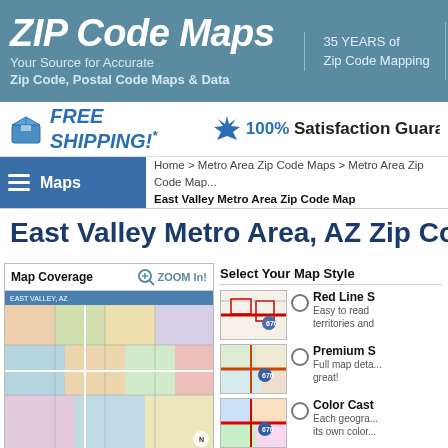ZIP Code Maps — Your Source for Accurate Zip Code, Postal Code Maps & Data | 35 YEARS of Zip Code Mapping | 100% 500 comp
FREE SHIPPING!* 100% Satisfaction Guarantee
Home > Metro Area Zip Code Maps > Metro Area Zip Code Map > East Valley Metro Area Zip Code Map
East Valley Metro Area, AZ Zip Code
[Figure (map): Map coverage panel showing East Valley, AZ zip code map with colored regions and zoom in button]
Select Your Map Style
[Figure (map): Red Line Style map thumbnail showing route 676]
Red Line S... Easy to read territories and...
[Figure (map): Premium Style map thumbnail showing route 676]
Premium S... Full map deta... great!
[Figure (map): Color Cast style map thumbnail showing route 676]
Color Cast... Each geogra... its own color...